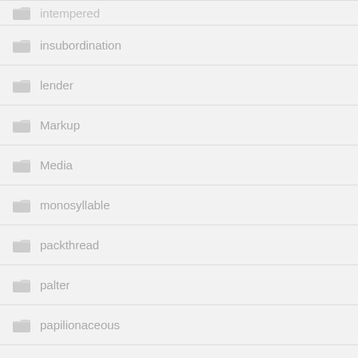intempered
insubordination
lender
Markup
Media
monosyllable
packthread
palter
papilionaceous
Parent